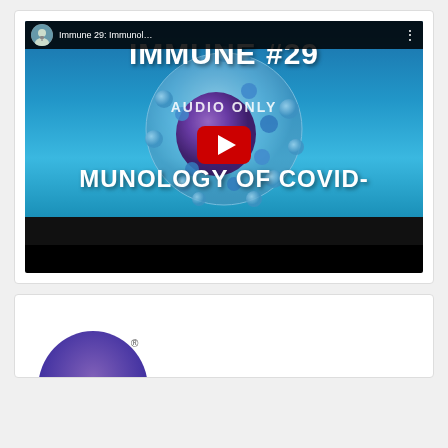[Figure (screenshot): YouTube video thumbnail screenshot showing 'Immune 29: Immunol...' podcast episode with title 'IMMUNE #29', subtitle 'AUDIO ONLY', and partial text 'MUNOLOGY OF COVID-' over a microscopy image of an immune cell (blue/purple spherical cell) on cyan background, with red YouTube play button overlay.]
[Figure (logo): Partial view of a purple logo with registered trademark symbol at bottom of page.]